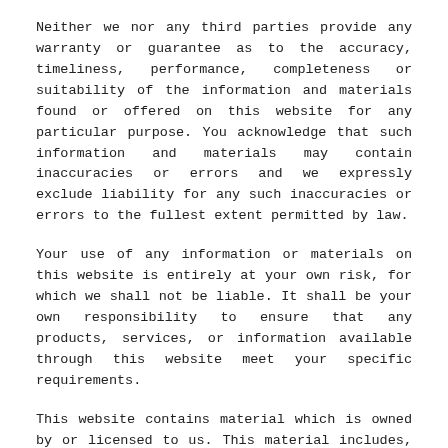Neither we nor any third parties provide any warranty or guarantee as to the accuracy, timeliness, performance, completeness or suitability of the information and materials found or offered on this website for any particular purpose. You acknowledge that such information and materials may contain inaccuracies or errors and we expressly exclude liability for any such inaccuracies or errors to the fullest extent permitted by law.
Your use of any information or materials on this website is entirely at your own risk, for which we shall not be liable. It shall be your own responsibility to ensure that any products, services, or information available through this website meet your specific requirements.
This website contains material which is owned by or licensed to us. This material includes, but is not limited to, the design, layout, look, appearance, and graphics. Reproduction of any